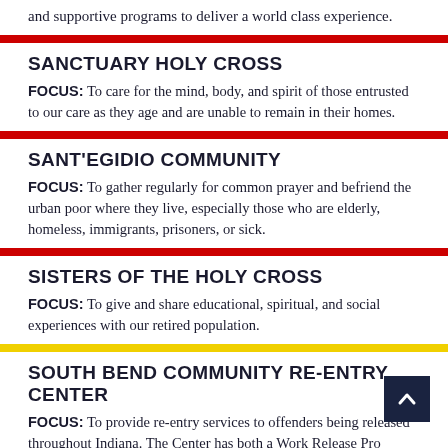and supportive programs to deliver a world class experience.
SANCTUARY HOLY CROSS
FOCUS: To care for the mind, body, and spirit of those entrusted to our care as they age and are unable to remain in their homes.
SANT'EGIDIO COMMUNITY
FOCUS: To gather regularly for common prayer and befriend the urban poor where they live, especially those who are elderly, homeless, immigrants, prisoners, or sick.
SISTERS OF THE HOLY CROSS
FOCUS: To give and share educational, spiritual, and social experiences with our retired population.
SOUTH BEND COMMUNITY RE-ENTRY CENTER
FOCUS: To provide re-entry services to offenders being released throughout Indiana. The Center has both a Work Release Program and Level 1 Program component for offenders with two years or fewer to serve.